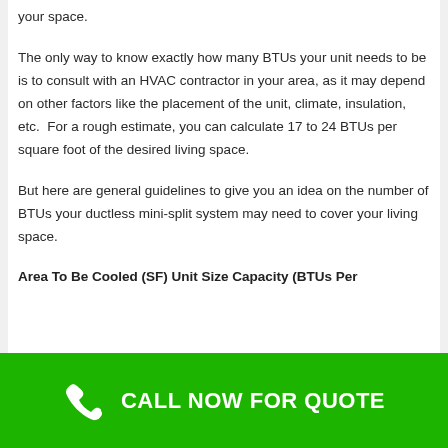your space.
The only way to know exactly how many BTUs your unit needs to be is to consult with an HVAC contractor in your area, as it may depend on other factors like the placement of the unit, climate, insulation, etc.  For a rough estimate, you can calculate 17 to 24 BTUs per square foot of the desired living space.
But here are general guidelines to give you an idea on the number of BTUs your ductless mini-split system may need to cover your living space.
Area To Be Cooled (SF) Unit Size Capacity (BTUs Per
CALL NOW FOR QUOTE